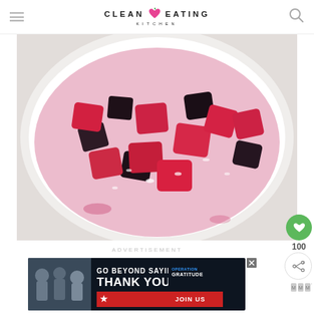[Figure (logo): Clean Eating Kitchen logo with pink heart/apple icon]
[Figure (photo): Overhead view of a white bowl containing chopped beets and watermelon salad with pink/red juices]
100
ADVERTISEMENT
[Figure (photo): Operation Gratitude advertisement banner - GO BEYOND SAYING THANK YOU - JOIN US]